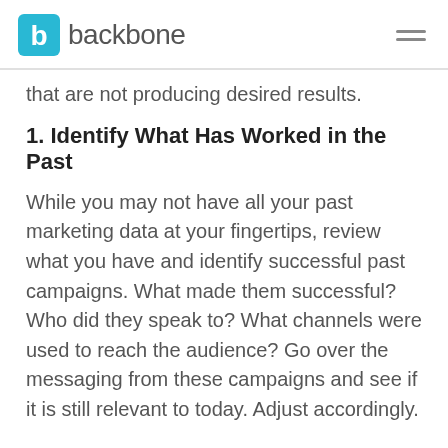backbone
that are not producing desired results.
1. Identify What Has Worked in the Past
While you may not have all your past marketing data at your fingertips, review what you have and identify successful past campaigns. What made them successful? Who did they speak to? What channels were used to reach the audience? Go over the messaging from these campaigns and see if it is still relevant to today. Adjust accordingly.